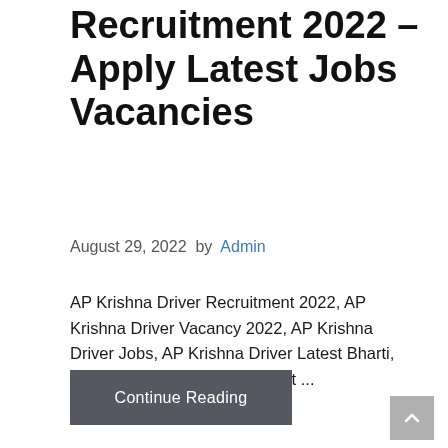Recruitment 2022 – Apply Latest Jobs Vacancies
August 29, 2022 by Admin
AP Krishna Driver Recruitment 2022, AP Krishna Driver Vacancy 2022, AP Krishna Driver Jobs, AP Krishna Driver Latest Bharti, AP Krishna Driver Government ...
Continue Reading